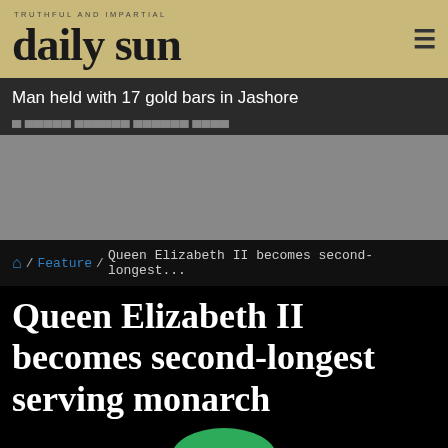daily sun
Man held with 17 gold bars in Jashore
[Figure (photo): Advertisement placeholder, gray rectangle]
/ Feature / Queen Elizabeth II becomes second-longest...
Queen Elizabeth II becomes second-longest serving monarch
[Figure (photo): Photo of Queen Elizabeth II wearing a green hat with a black button, seen from the shoulders up against a black background]